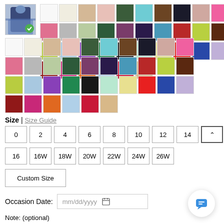[Figure (photo): Selected dress thumbnail with green checkmark overlay]
[Figure (other): Grid of fabric color swatches in various colors]
Size | Size Guide
0
2
4
6
8
10
12
14
16
16W
18W
20W
22W
24W
26W
Custom Size
Occasion Date: mm/dd/yyyy
Note: (optional)